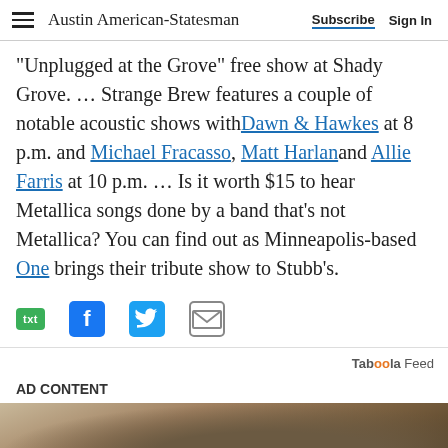Austin American-Statesman | Subscribe | Sign In
"Unplugged at the Grove" free show at Shady Grove. … Strange Brew features a couple of notable acoustic shows with Dawn & Hawkes at 8 p.m. and Michael Fracasso, Matt Harlan and Allie Farris at 10 p.m. … Is it worth $15 to hear Metallica songs done by a band that's not Metallica? You can find out as Minneapolis-based One brings their tribute show to Stubb's.
[Figure (infographic): Social sharing icons: txt (green), Facebook (blue), Twitter (blue bird), Email (envelope)]
Taboola Feed
AD CONTENT
[Figure (photo): Partial photo at bottom of page, sandy/earthy tones, appears to show a person or object outdoors]